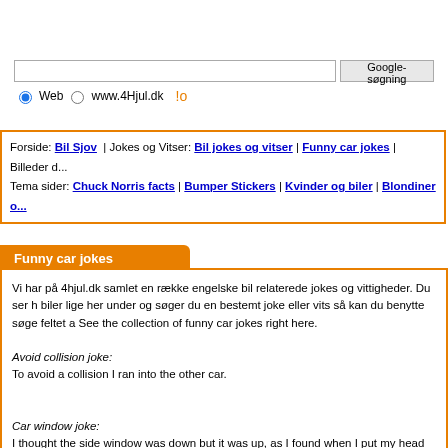[Figure (screenshot): Google search bar with input field and Google-søgning button, Web and www.4Hjul.dk radio buttons]
Forside: Bil Sjov | Jokes og Vitser: Bil jokes og vitser | Funny car jokes | Billeder d... Tema sider: Chuck Norris facts | Bumper Stickers | Kvinder og biler | Blondiner o...
Funny car jokes
Vi har på 4hjul.dk samlet en række engelske bil relaterede jokes og vittigheder. Du ser h biler lige her under og søger du en bestemt joke eller vits så kan du benytte søge feltet a See the collection of funny car jokes right here.

Avoid collision joke:
To avoid a collision I ran into the other car.

Car window joke:
I thought the side window was down but it was up, as I found when I put my head throug

Pedestrian joke:
A pedestrian is a hit every time.